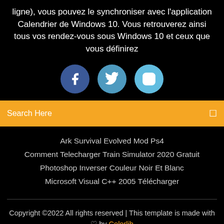ligne), vous pouvez le synchroniser avec l'application Calendrier de Windows 10. Vous retrouverez ainsi tous vos rendez-vous sous Windows 10 et ceux que vous définirez
[Figure (illustration): Three social media icon circles: Facebook (dark blue), Twitter (medium blue), Instagram (light blue)]
Search Here
Ark Survival Evolved Mod Ps4
Comment Telecharger Train Simulator 2020 Gratuit
Photoshop Inverser Couleur Noir Et Blanc
Microsoft Visual C++ 2005 Télécharger
Copyright ©2022 All rights reserved | This template is made with ♡ by Colorlib